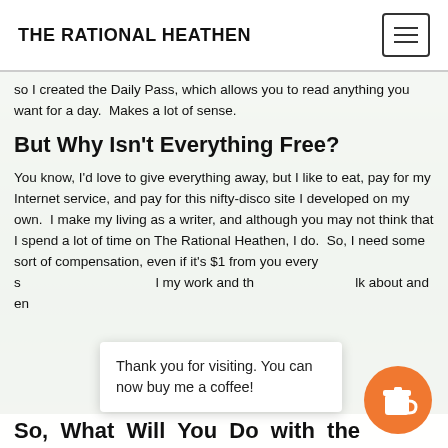THE RATIONAL HEATHEN
so I created the Daily Pass, which allows you to read anything you want for a day.  Makes a lot of sense.
But Why Isn't Everything Free?
You know, I'd love to give everything away, but I like to eat, pay for my Internet service, and pay for this nifty-disco site I developed on my own.  I make my living as a writer, and although you may not think that I spend a lot of time on The Rational Heathen, I do.  So, I need some sort of compensation, even if it's $1 from you every s... l my work and th... lk about and en...
Thank you for visiting. You can now buy me a coffee!
So, What Will You Do with the